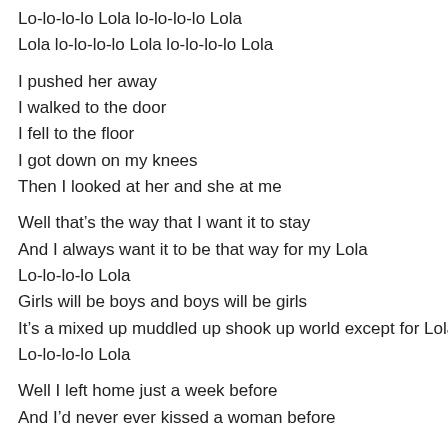Lo-lo-lo-lo Lola lo-lo-lo-lo Lola
Lola lo-lo-lo-lo Lola lo-lo-lo-lo Lola
I pushed her away
I walked to the door
I fell to the floor
I got down on my knees
Then I looked at her and she at me
Well that’s the way that I want it to stay
And I always want it to be that way for my Lola
Lo-lo-lo-lo Lola
Girls will be boys and boys will be girls
It’s a mixed up muddled up shook up world except for Lola
Lo-lo-lo-lo Lola
Well I left home just a week before
And I’d never ever kissed a woman before